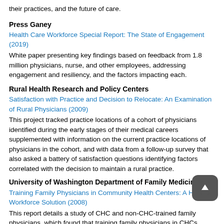their practices, and the future of care.
Press Ganey
Health Care Workforce Special Report: The State of Engagement (2019)
White paper presenting key findings based on feedback from 1.8 million physicians, nurse, and other employees, addressing engagement and resiliency, and the factors impacting each.
Rural Health Research and Policy Centers
Satisfaction with Practice and Decision to Relocate: An Examination of Rural Physicians (2009)
This project tracked practice locations of a cohort of physicians identified during the early stages of their medical careers supplemented with information on the current practice locations of physicians in the cohort, and with data from a follow-up survey that also asked a battery of satisfaction questions identifying factors correlated with the decision to maintain a rural practice.
University of Washington Department of Family Medicine
Training Family Physicians in Community Health Centers: A Health Workforce Solution (2008)
This report details a study of CHC and non-CHC-trained family physicians, which found that training family physicians in CHCs meets the health workforce needs of the underserved, enhances the recruitment of family physicians to CHCs, and prepares family physicians similarly to their non-CHC trained counterparts.